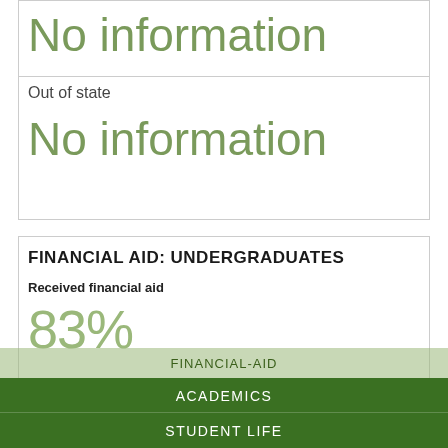No information
Out of state
No information
FINANCIAL AID: UNDERGRADUATES
Received financial aid
83%
FINANCIAL-AID
ACADEMICS
ADMISSIONS
STUDENT LIFE